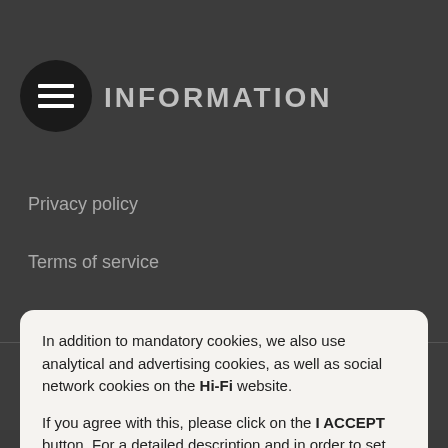INFORMATION
Privacy policy
Terms of service
OUR STORY
In addition to mandatory cookies, we also use analytical and advertising cookies, as well as social network cookies on the Hi-Fi website.

If you agree with this, please click on the I ACCEPT button. For a detailed description and in order to set the use of individual cookies, click on the COOKIE SETTINGS link.
I ACCEPT
Configuración de cookies